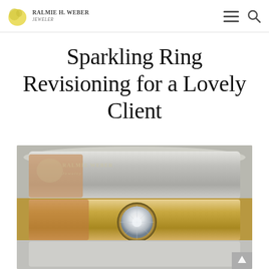Ralmie H. Weber Jeweler
Sparkling Ring Revisioning for a Lovely Client
[Figure (photo): Close-up photograph of stacked metallic rings, one featuring a bezel-set round diamond, in gold and silver tones, with a Ralmie Weber Jewelry watermark overlay.]